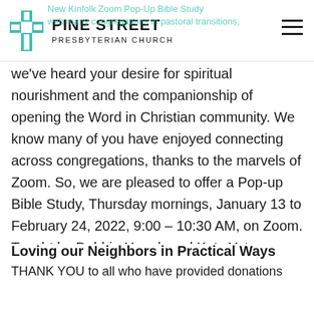Pine Street Presbyterian Church
we've heard your desire for spiritual nourishment and the companionship of opening the Word in Christian community. We know many of you have enjoyed connecting across congregations, thanks to the marvels of Zoom. So, we are pleased to offer a Pop-up Bible Study, Thursday mornings, January 13 to February 24, 2022, 9:00 – 10:30 AM, on Zoom. Taught by Debbie Hough and Katy Yates Brungraber, this study is bound to brighten your bleak midwinter! For more information about the study, click here. To register, email chocdce@gmail.com by January 6th.
Loving our Neighbors in Practical Ways
THANK YOU to all who have provided donations